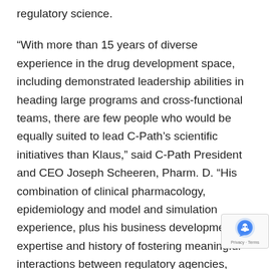regulatory science.
“With more than 15 years of diverse experience in the drug development space, including demonstrated leadership abilities in heading large programs and cross-functional teams, there are few people who would be equally suited to lead C-Path’s scientific initiatives than Klaus,” said C-Path President and CEO Joseph Scheeren, Pharm. D. “His combination of clinical pharmacology, epidemiology and model and simulation experience, plus his business development expertise and history of fostering meaningful interactions between regulatory agencies, industry, academia and patient groups will be key in enhancing signature C-Path consortia initiatives, while bringing strategic focus to data analytics to drive research and create efficiencies across all stages of drug development.”
During his tenure with C-Path, he has helped lead clinical